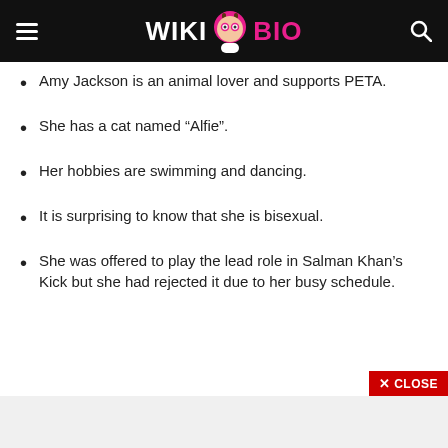Wiki Bio
Amy Jackson is an animal lover and supports PETA.
She has a cat named “Alfie”.
Her hobbies are swimming and dancing.
It is surprising to know that she is bisexual.
She was offered to play the lead role in Salman Khan’s Kick but she had rejected it due to her busy schedule.